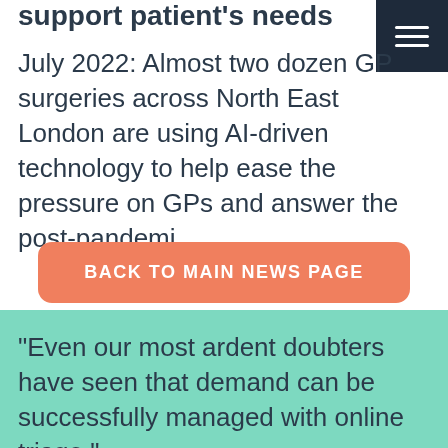support patient's needs
July 2022: Almost two dozen GP surgeries across North East London are using AI-driven technology to help ease the pressure on GPs and answer the post-pandemi…
BACK TO MAIN NEWS PAGE
"Even our most ardent doubters have seen that demand can be successfully managed with online triage."